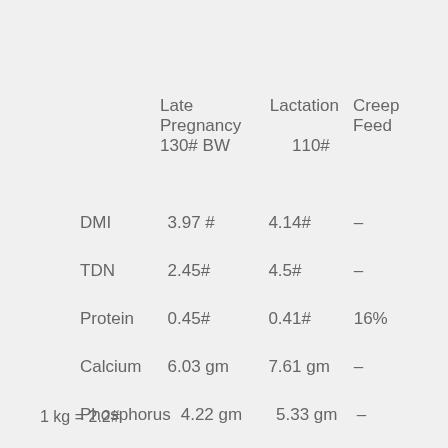|  | Late Pregnancy 130# BW | Lactation 110# | Creep Feed |
| --- | --- | --- | --- |
| DMI | 3.97 # | 4.14# | – |
| TDN | 2.45# | 4.5# | – |
| Protein | 0.45# | 0.41# | 16% |
| Calcium | 6.03 gm | 7.61 gm | – |
| Phosphorus | 4.22 gm | 5.33 gm | – |
1 kg = 2.2#